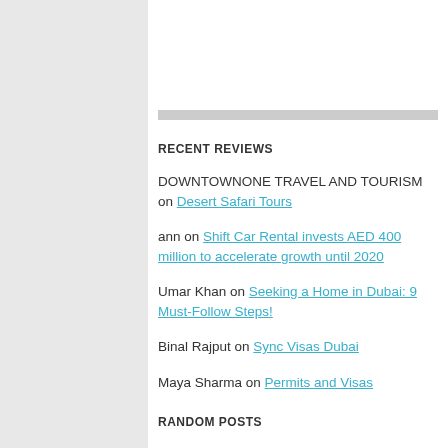RECENT REVIEWS
DOWNTOWNONE TRAVEL AND TOURISM on Desert Safari Tours
ann on Shift Car Rental invests AED 400 million to accelerate growth until 2020
Umar Khan on Seeking a Home in Dubai: 9 Must-Follow Steps!
Binal Rajput on Sync Visas Dubai
Maya Sharma on Permits and Visas
RANDOM POSTS
Foreign forces can't control religion, China official says